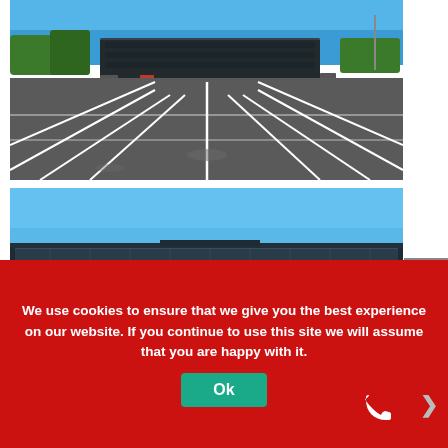[Figure (photo): Aerial/ground-level view of a large empty freshly-paved dark asphalt parking lot with white painted parking lines, a modern dark glass office building visible in the background under a clear blue sky with trees.]
[Figure (photo): Close-up view of a modern multi-story dark glass office building seen from the parking lot, under a clear blue sky.]
We use cookies to ensure that we give you the best experience on our website. If you continue to use this site we will assume that you are happy with it.